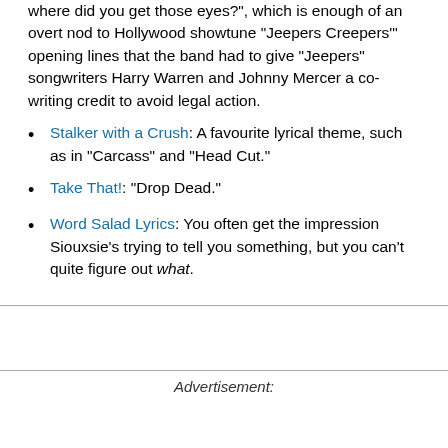where did you get those eyes?", which is enough of an overt nod to Hollywood showtune "Jeepers Creepers'" opening lines that the band had to give "Jeepers" songwriters Harry Warren and Johnny Mercer a co-writing credit to avoid legal action.
Stalker with a Crush: A favourite lyrical theme, such as in "Carcass" and "Head Cut."
Take That!: "Drop Dead."
Word Salad Lyrics: You often get the impression Siouxsie's trying to tell you something, but you can't quite figure out what.
Advertisement: